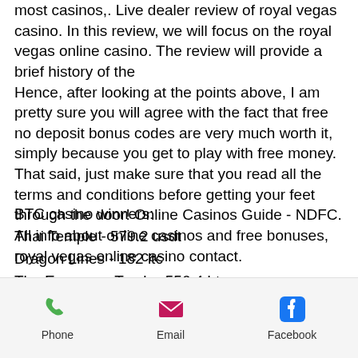most casinos,. Live dealer review of royal vegas casino. In this review, we will focus on the royal vegas online casino. The review will provide a brief history of the Hence, after looking at the points above, I am pretty sure you will agree with the fact that free no deposit bonus codes are very much worth it, simply because you get to play with free money. That said, just make sure that you read all the terms and conditions before getting your feet through the door! Online Casinos Guide - NDFC. All info about online casinos and free bonuses, royal vegas online casino contact.
BTC casino winners:
Thai Temple - 579.2 usdt
Dragon Lines - 182 ltc
The Emperors Tomb - 556.4 btc
Phone | Email | Facebook